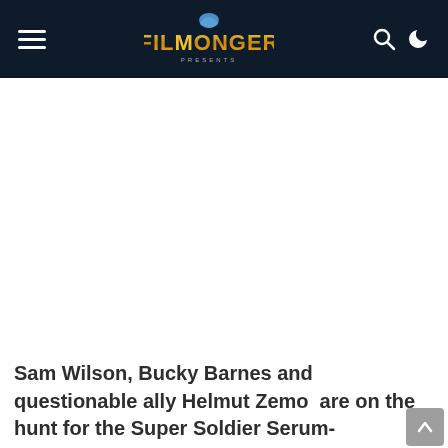Filmonger
[Figure (photo): Large white/blank image area below the header, representing an article image placeholder]
Sam Wilson, Bucky Barnes and questionable ally Helmut Zemo  are on the hunt for the Super Soldier Serum-empowered. However, Bucky discovers